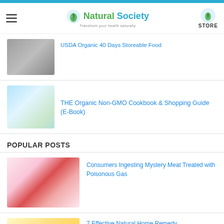Natural Society — Transform your health naturally
USDA Organic 40 Days Storeable Food
THE Organic Non-GMO Cookbook & Shopping Guide (E-Book)
POPULAR POSTS
Consumers Ingesting Mystery Meat Treated with Poisonous Gas
7 Effective Natural Home Remedy...